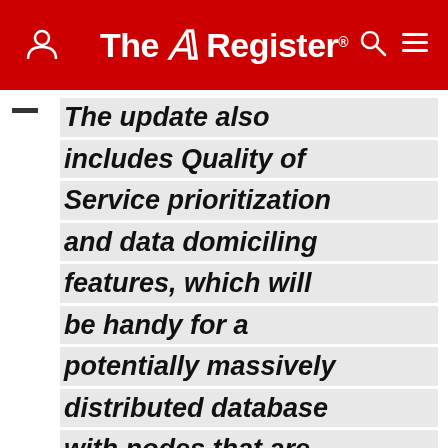The Register
The update also includes Quality of Service prioritization and data domiciling features, which will be handy for a potentially massively distributed database with nodes that are not necessarily where lawmakers would like them
The arrival of the API marks a step toward maturity for